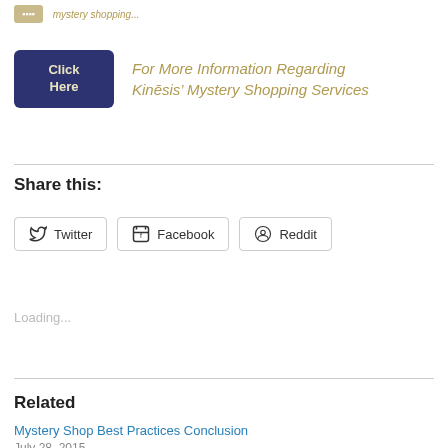[Figure (other): Partial banner at top with a tan button and italic gold text partially cut off]
[Figure (other): Dark blue 'Click Here' button next to italic gold text 'For More Information Regarding Kinēsis' Mystery Shopping Services']
Share this:
[Figure (other): Three social sharing buttons: Twitter, Facebook, Reddit with icons]
Loading...
Related
Mystery Shop Best Practices Conclusion
July 28, 2015
In "Mystery Shopping"